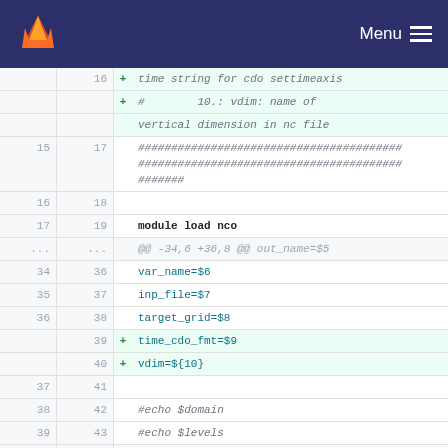Menu
| old | new | +/- | code |
| --- | --- | --- | --- |
|  | 16 | + | # 10.: vdim: name of vertical dimension in nc file |
| 15 | 17 |  | ######################################## |
| 16 | 18 |  |  |
| 17 | 19 |  | module load nco |
| ... | ... |  | @@ -34,6 +36,8 @@ out_name=$5 |
| 34 | 36 |  | var_name=$6 |
| 35 | 37 |  | inp_file=$7 |
| 36 | 38 |  | target_grid=$8 |
|  | 39 | + | time_cdo_fmt=$9 |
|  | 40 | + | vdim=${10} |
| 37 | 41 |  |  |
| 38 | 42 |  | #echo $domain |
| 39 | 43 |  | #echo $levels |
| ... | ... |  | @@ -43,6 +47,9 @@ target_grid=$8 |
| 43 | 47 |  | #echo $var_name |
| 44 | 48 |  | #echo $inp_file |